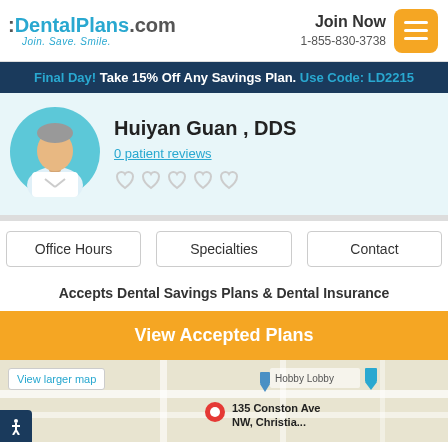DentalPlans.com Join. Save. Smile. | Join Now 1-855-830-3738
Final Day! Take 15% Off Any Savings Plan. Use Code: LD2215
Huiyan Guan , DDS
0 patient reviews
[Figure (illustration): Dentist avatar illustration in teal circle]
Office Hours
Specialties
Contact
Accepts Dental Savings Plans & Dental Insurance
View Accepted Plans
[Figure (map): Google map showing location near 135 Conston Ave with Hobby Lobby landmark visible]
View larger map
135 Conston Ave NW, Christiansburg